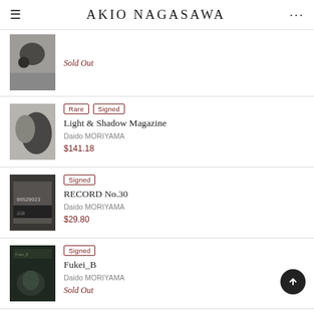AKIO NAGASAWA
[Figure (photo): Partial black and white photo thumbnail, top item]
Sold Out
[Figure (photo): Black and white photo thumbnail - curved abstract forms, Light & Shadow Magazine]
Rare  Signed
Light & Shadow Magazine
Daido MORIYAMA
$141.18
[Figure (photo): Black and white photo thumbnail - face/number plate, RECORD No.30]
Signed
RECORD No.30
Daido MORIYAMA
$29.80
[Figure (photo): Dark green cover photo thumbnail - Fukei_B]
Signed
Fukei_B
Daido MORIYAMA
Sold Out
[Figure (photo): Partial dark thumbnail, last item partially visible]
Signed